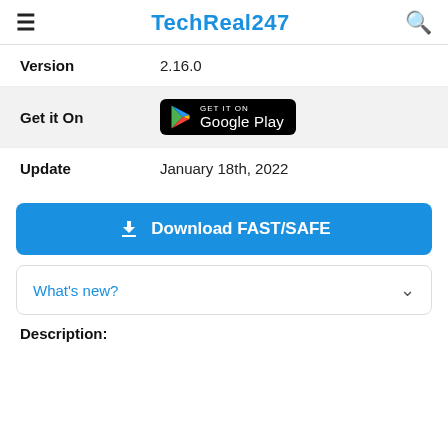TechReal247
| Field | Value |
| --- | --- |
| Version | 2.16.0 |
| Get it On | [Google Play badge] |
| Update | January 18th, 2022 |
[Figure (other): Download FAST/SAFE button (blue rounded rectangle with download icon)]
[Figure (other): What's new? collapsible section with chevron]
Description: